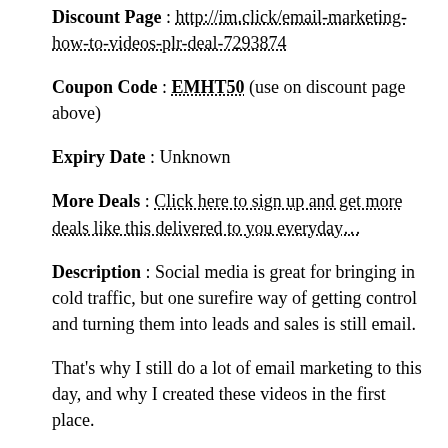Discount Page : http://im.click/email-marketing-how-to-videos-plr-deal-7293874
Coupon Code : EMHT50 (use on discount page above)
Expiry Date : Unknown
More Deals : Click here to sign up and get more deals like this delivered to you everyday…
Description : Social media is great for bringing in cold traffic, but one surefire way of getting control and turning them into leads and sales is still email.
That's why I still do a lot of email marketing to this day, and why I created these videos in the first place.